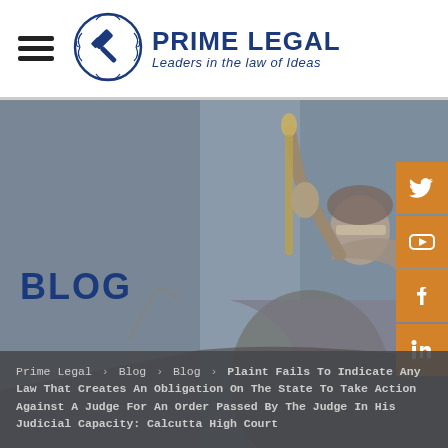[Figure (logo): Prime Legal logo with gavel icon in circular wreath, text 'PRIME LEGAL' and tagline 'Leaders in the law of Ideas']
[Figure (photo): Lady Justice statue holding scales and a staff/mace, blurred grey background, with BLOG text overlay and social media icons on the right]
BLOG
Prime Legal > Blog > Blog > Plaint Fails To Indicate Any Law That Creates An Obligation On The State To Take Action Against A Judge For An Order Passed By The Judge In His Judicial Capacity: Calcutta High Court